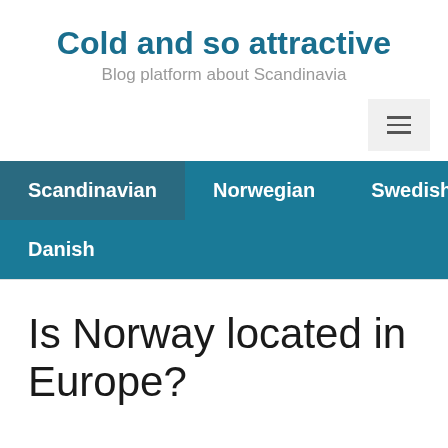Cold and so attractive
Blog platform about Scandinavia
[Figure (other): Hamburger menu button icon with three horizontal lines]
Scandinavian
Norwegian
Swedish
Danish
Is Norway located in Europe?